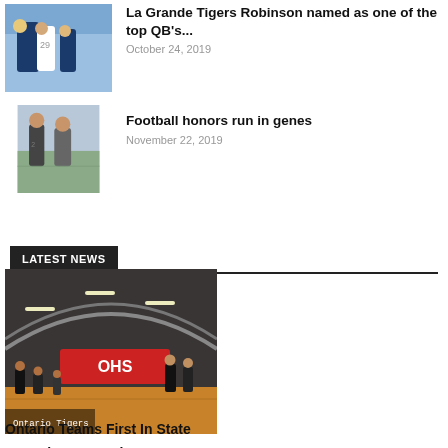[Figure (photo): Football players in blue and white uniforms on sideline]
La Grande Tigers Robinson named as one of the top QB's...
October 24, 2019
[Figure (photo): Two football players posing together outdoors]
Football honors run in genes
November 22, 2019
LATEST NEWS
[Figure (photo): Indoor gym with OHS banner and athletes gathered, labeled Ontario Tigers]
Ontario Teams First In State